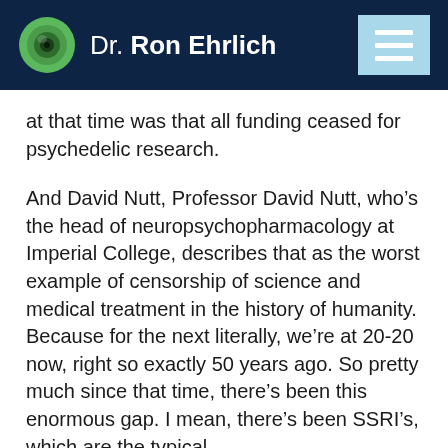Dr. Ron Ehrlich
at that time was that all funding ceased for psychedelic research.
And David Nutt, Professor David Nutt, who’s the head of neuropsychopharmacology at Imperial College, describes that as the worst example of censorship of science and medical treatment in the history of humanity. Because for the next literally, we’re at 20-20 now, right so exactly 50 years ago. So pretty much since that time, there’s been this enormous gap. I mean, there’s been SSRI’s, which are the typical